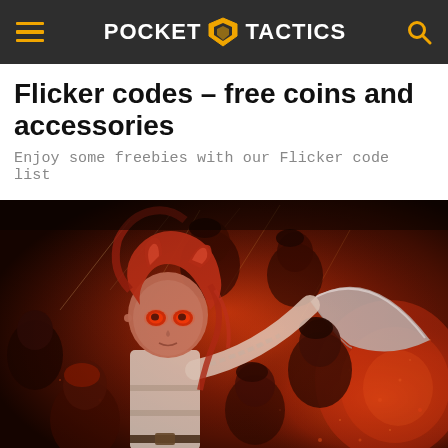POCKET TACTICS
Flicker codes – free coins and accessories
Enjoy some freebies with our Flicker code list
[Figure (illustration): Anime-style illustration featuring a red-haired female character with glowing eyes extending her arm holding a large scythe, surrounded by multiple characters with fearful expressions, set against a fiery dark red background with glowing embers and light streaks.]